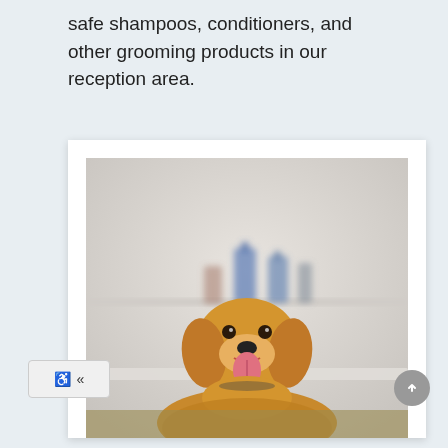safe shampoos, conditioners, and other grooming products in our reception area.
[Figure (photo): A golden retriever dog sitting in a bathtub, tongue out and panting happily, with blurry shampoo bottles visible in the background on a shelf. The photo is displayed in a white card/frame with a white background.]
[Figure (screenshot): Accessibility toolbar with wheelchair icon and double left-arrow icon, and a scroll-to-top circular button on the right side.]